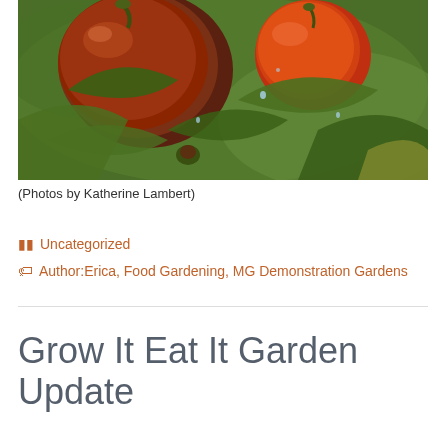[Figure (photo): Close-up photo of ripe tomatoes (dark red/brown and orange-red) on a plant with green leaves and water droplets]
(Photos by Katherine Lambert)
Uncategorized
Author:Erica, Food Gardening, MG Demonstration Gardens
Grow It Eat It Garden Update